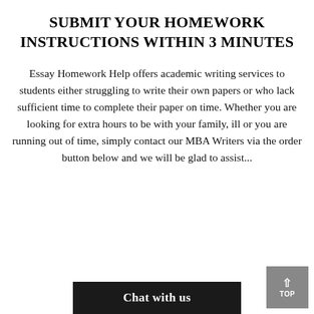SUBMIT YOUR HOMEWORK INSTRUCTIONS WITHIN 3 MINUTES
Essay Homework Help offers academic writing services to students either struggling to write their own papers or who lack sufficient time to complete their paper on time. Whether you are looking for extra hours to be with your family, ill or you are running out of time, simply contact our MBA Writers via the order button below and we will be glad to assist...